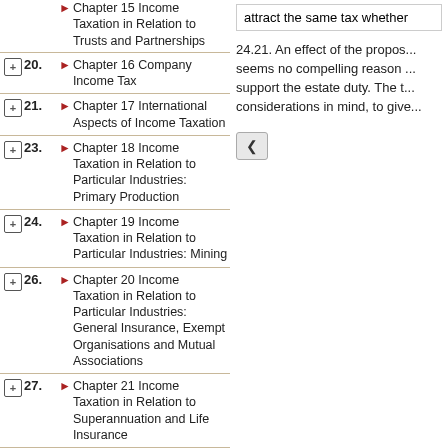20. Chapter 16 Company Income Tax
21. Chapter 17 International Aspects of Income Taxation
23. Chapter 18 Income Taxation in Relation to Particular Industries: Primary Production
24. Chapter 19 Income Taxation in Relation to Particular Industries: Mining
26. Chapter 20 Income Taxation in Relation to Particular Industries: General Insurance, Exempt Organisations and Mutual Associations
27. Chapter 21 Income Taxation in Relation to Superannuation and Life Insurance
28. Chapter 22 Income Tax Administration
29. Chapter 23 Capital Gains Tax
32. Chapter 24 Estate and Gift Duty
32.1.1. 1. The Form of a Death Tax
attract the same tax whether...
24.21. An effect of the propos... seems no compelling reason ... support the estate duty. The t... considerations in mind, to give...